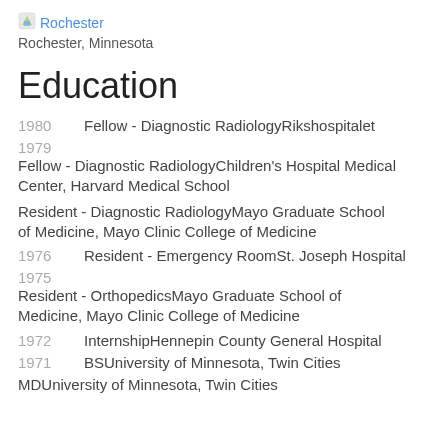[Figure (logo): Rochester location icon/flag image]
Rochester
Rochester, Minnesota
Education
1980    Fellow - Diagnostic RadiologyRikshospitalet
1979
Fellow - Diagnostic RadiologyChildren's Hospital Medical Center, Harvard Medical School
Resident - Diagnostic RadiologyMayo Graduate School of Medicine, Mayo Clinic College of Medicine
1976    Resident - Emergency RoomSt. Joseph Hospital
1975
Resident - OrthopedicsMayo Graduate School of Medicine, Mayo Clinic College of Medicine
1972    InternshipHennepin County General Hospital
1971    BSUniversity of Minnesota, Twin Cities
MDUniversity of Minnesota, Twin Cities